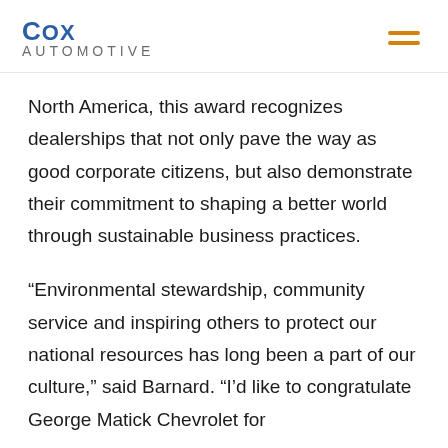Cox Automotive
North America, this award recognizes dealerships that not only pave the way as good corporate citizens, but also demonstrate their commitment to shaping a better world through sustainable business practices.
“Environmental stewardship, community service and inspiring others to protect our national resources has long been a part of our culture,” said Barnard. “I’d like to congratulate George Matick Chevrolet for